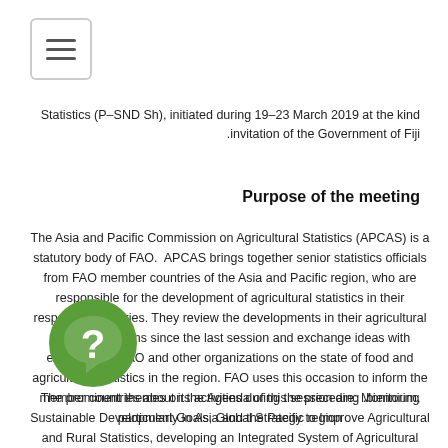[Figure (other): Hamburger menu button icon with three horizontal lines inside a rounded rectangle border]
Statistics (P–SND Sh), initiated during 19–23 March 2019 at the kind invitation of the Government of Fiji.
Purpose of the meeting
The Asia and Pacific Commission on Agricultural Statistics (APCAS) is a statutory body of FAO. APCAS brings together senior statistics officials from FAO member countries of the Asia and Pacific region, who are responsible for the development of agricultural statistics in their respective countries. They review the developments in their agricultural statistics systems since the last session and exchange ideas with experts from FAO and other organizations on the state of food and agricultural statistics in the region. FAO uses this occasion to inform the member countries about its activities during the preceding biennium, particularly in Asia and the Pacific region.
The prominent themes on the Agenda of this session are: Monitoring Sustainable Development Goals, Global Strategy to Improve Agricultural and Rural Statistics, developing an Integrated System of Agricultural Census and Surveys. Launching of Pacific Strategic Plan for Agricultural and Fisheries Statistics (P-SPAFS) during this sessions, is
[Figure (other): Green circular badge with a white question mark and speech bubble icon]